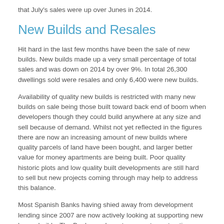that July's sales were up over Junes in 2014.
New Builds and Resales
Hit hard in the last few months have been the sale of new builds. New builds made up a very small percentage of total sales and was down on 2014 by over 9%. In total 26,300 dwellings sold were resales and only 6,400 were new builds.
Availability of quality new builds is restricted with many new builds on sale being those built toward back end of boom when developers though they could build anywhere at any size and sell because of demand. Whilst not yet reflected in the figures there are now an increasing amount of new builds where quality parcels of land have been bought, and larger better value for money apartments are being built. Poor quality historic plots and low quality built developments are still hard to sell but new projects coming through may help to address this balance.
Most Spanish Banks having shied away from development lending since 2007 are now actively looking at supporting new house builds. The Banks are keen to support construction loans for prime plots where a Spanish Builder is being used to